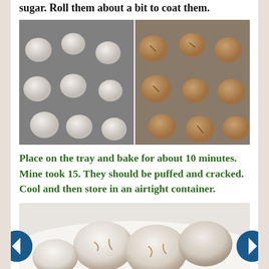sugar. Roll them about a bit to coat them.
[Figure (photo): Two side-by-side photos showing cookie dough balls coated in powdered sugar on a baking tray (left: before baking, right: after baking showing cracked puffed cookies)]
Place on the tray and bake for about 10 minutes. Mine took 15. They should be puffed and cracked. Cool and then store in an airtight container.
[Figure (photo): Close-up photo of finished crinkle cookies on a white decorative plate, showing powdered sugar coating and cracked surfaces]